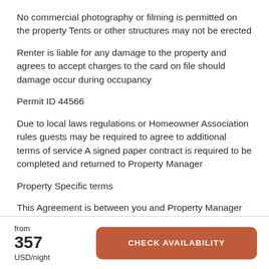No commercial photography or filming is permitted on the property Tents or other structures may not be erected
Renter is liable for any damage to the property and agrees to accept charges to the card on file should damage occur during occupancy
Permit ID 44566
Due to local laws regulations or Homeowner Association rules guests may be required to agree to additional terms of service A signed paper contract is required to be completed and returned to Property Manager
Property Specific terms
This Agreement is between you and Property Manager
from
357
USD/night
CHECK AVAILABILITY